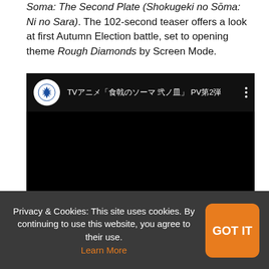Soma: The Second Plate (Shokugeki no Sōma: Ni no Sara). The 102-second teaser offers a look at first Autumn Election battle, set to opening theme Rough Diamonds by Screen Mode.
[Figure (screenshot): Embedded YouTube video player showing a dark/black video frame with Warner Bros. logo and Japanese title text: TVアニメ「食戟のソーマ 弐ノ皿」 PV第2弾]
Privacy & Cookies: This site uses cookies. By continuing to use this website, you agree to their use. Learn More